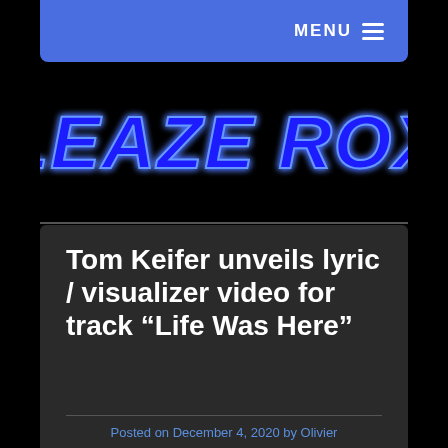MENU ≡
[Figure (logo): Sleaze Roxx logo in neon blue glowing text on black background]
Tom Keifer unveils lyric / visualizer video for track “Life Was Here”
Posted on December 4, 2020 by Olivier